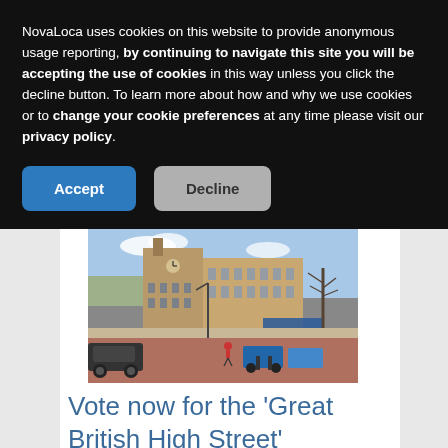NovaLoca uses cookies on this website to provide anonymous usage reporting, by continuing to navigate this site you will be accepting the use of cookies in this way unless you click the decline button. To learn more about how and why we use cookies or to change your cookie preferences at any time please visit our privacy policy.
[Figure (photo): Street scene showing a UK high street with a historic stone building with a clock tower, cars parked along a red brick road, pedestrians, and bare trees on a sunny day.]
Vote now for the 'Great British High Street' competition!